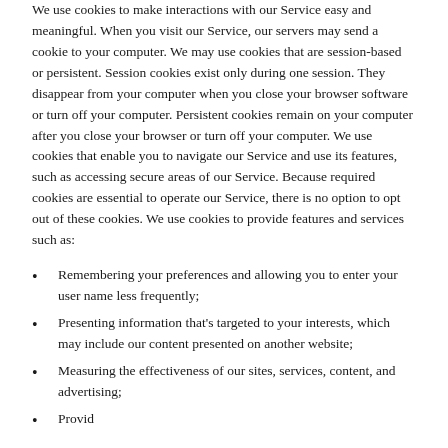We use cookies to make interactions with our Service easy and meaningful. When you visit our Service, our servers may send a cookie to your computer. We may use cookies that are session-based or persistent. Session cookies exist only during one session. They disappear from your computer when you close your browser software or turn off your computer. Persistent cookies remain on your computer after you close your browser or turn off your computer. We use cookies that enable you to navigate our Service and use its features, such as accessing secure areas of our Service. Because required cookies are essential to operate our Service, there is no option to opt out of these cookies. We use cookies to provide features and services such as:
Remembering your preferences and allowing you to enter your user name less frequently;
Presenting information that's targeted to your interests, which may include our content presented on another website;
Measuring the effectiveness of our sites, services, content, and advertising;
Providing...